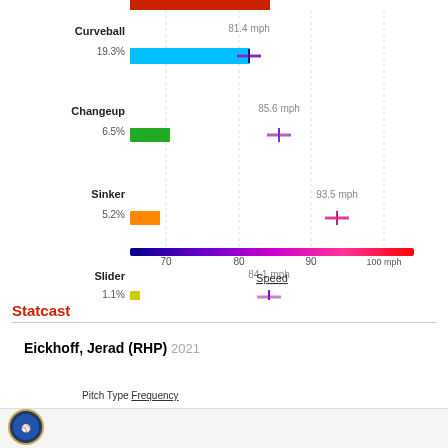[Figure (other): Pitch speed chart showing Curveball 81.4 mph (19.3%), Changeup 85.6 mph (6.5%), Sinker 93.5 mph (5.2%), Slider 84.1 mph (1.1%) with colored speed gradient bar from 70 to 100 mph]
Statcast
Eickhoff, Jerad (RHP) 2021
Pitch Type Frequency
[Figure (logo): Baseball organization circular logo]